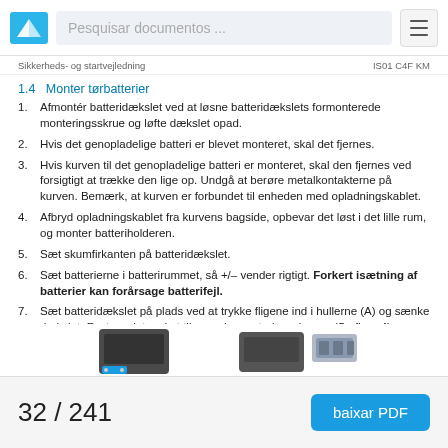Sikkerheds- og startvejledning | IS01 C4F KM
1.4  Monter tørbatterier
Afmontér batteridækslet ved at løsne batteridækslets formonterede monteringsskrue og løfte dækslet opad.
Hvis det genopladelige batteri er blevet monteret, skal det fjernes.
Hvis kurven til det genopladelige batteri er monteret, skal den fjernes ved forsigtigt at trække den lige op. Undgå at berøre metalkontakterne på kurven. Bemærk, at kurven er forbundet til enheden med opladningskablet.
Afbryd opladningskablet fra kurvens bagside, opbevar det løst i det lille rum, og monter batteriholderen.
Sæt skumfirkanten på batteridækslet.
Sæt batterierne i batterirummet, så +/– vender rigtigt. Forkert isætning af batterier kan forårsage batterifejl.
Sæt batteridækslet på plads ved at trykke fligene ind i hullerne (A) og sænke dækslet. Fastgør det ved at tilspænde monteringsskruen. (Se figur 4).
[Figure (illustration): Partial images of battery covers and battery pack components at the bottom of the page]
32 / 241